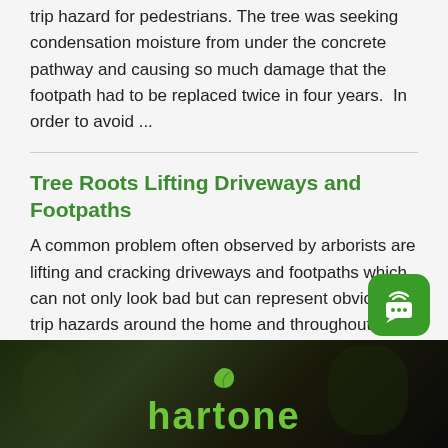trip hazard for pedestrians. The tree was seeking condensation moisture from under the concrete pathway and causing so much damage that the footpath had to be replaced twice in four years.  In order to avoid ...
Tree Roots Lifting Driveways and Footpaths
A common problem often observed by arborists are lifting and cracking driveways and footpaths which can not only look bad but can represent obvious trip hazards around the home and throughout the urban environment in general. This problem occurs when tree roots grow beneath these constructed surfaces and as the tree roots increase in diameter, ...
[Figure (photo): Dark footer area showing outdoor scene with green logo text and leaf icon of a tree/arborist company]